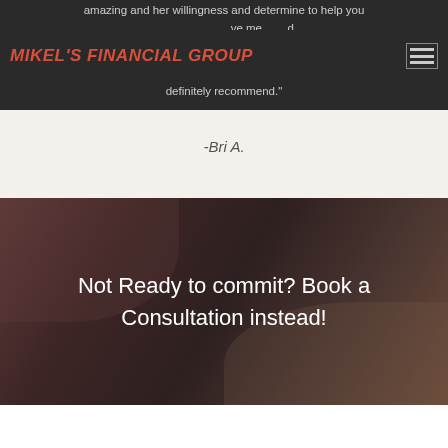MIKEL'S FINANCIAL GROUP
amazing and her willingness and determine to help you... have met... definitely recommend."
-Bri A.
Not Ready to commit? Book a Consultation instead!
[Figure (screenshot): White form/widget area at the bottom of the page]